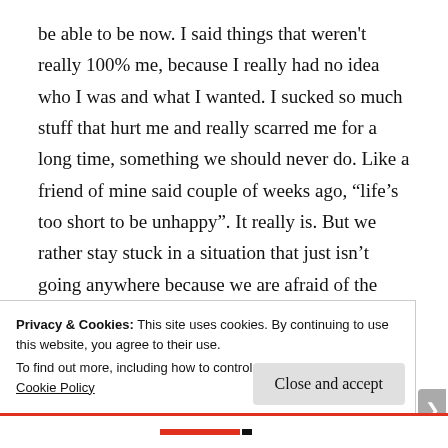be able to be now. I said things that weren't really 100% me, because I really had no idea who I was and what I wanted. I sucked so much stuff that hurt me and really scarred me for a long time, something we should never do. Like a friend of mine said couple of weeks ago, “life’s too short to be unhappy”. It really is. But we rather stay stuck in a situation that just isn’t going anywhere because we are afraid of the what if. I’ve been there, so many times, been so afraid to be happy that I’ve rather stayed in that unhappy place because it was familiar. While I’ve been wondering why can’t I just be happy?
Privacy & Cookies: This site uses cookies. By continuing to use this website, you agree to their use.
To find out more, including how to control cookies, see here: Cookie Policy
Close and accept